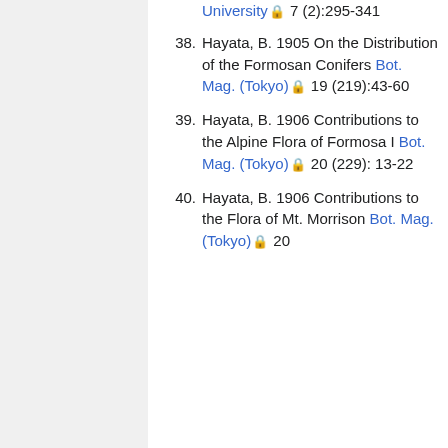(continuation) University 7 (2):295-341
38. Hayata, B. 1905 On the Distribution of the Formosan Conifers Bot. Mag. (Tokyo) 19 (219):43-60
39. Hayata, B. 1906 Contributions to the Alpine Flora of Formosa I Bot. Mag. (Tokyo) 20 (229): 13-22
40. Hayata, B. 1906 Contributions to the Flora of Mt. Morrison Bot. Mag.(Tokyo) 20